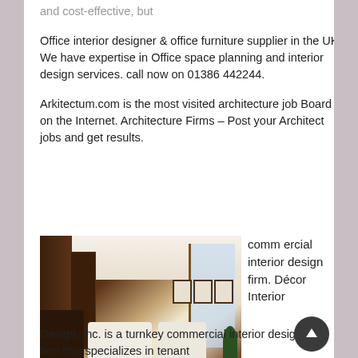and cost-effective, but
Office interior designer & office furniture supplier in the UK. We have expertise in Office space planning and interior design services. call now on 01386 442244.
Arkitectum.com is the most visited architecture job Board on the Internet. Architecture Firms – Post your Architect jobs and get results.
[Figure (photo): Interior of a luxury commercial office space with dark wood paneling, white sofas, bookshelves, large windows with blinds, framed portraits on the wall, and indoor plants]
commercial interior design firm. Décor Interior Design, Inc. is a turnkey commercial interior design firm that specializes in tenant